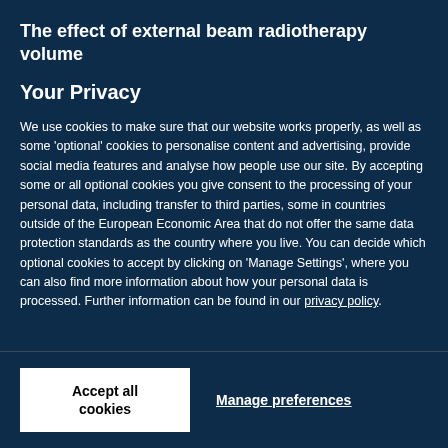The effect of external beam radiotherapy volume
Your Privacy
We use cookies to make sure that our website works properly, as well as some 'optional' cookies to personalise content and advertising, provide social media features and analyse how people use our site. By accepting some or all optional cookies you give consent to the processing of your personal data, including transfer to third parties, some in countries outside of the European Economic Area that do not offer the same data protection standards as the country where you live. You can decide which optional cookies to accept by clicking on 'Manage Settings', where you can also find more information about how your personal data is processed. Further information can be found in our privacy policy.
Accept all cookies
Manage preferences